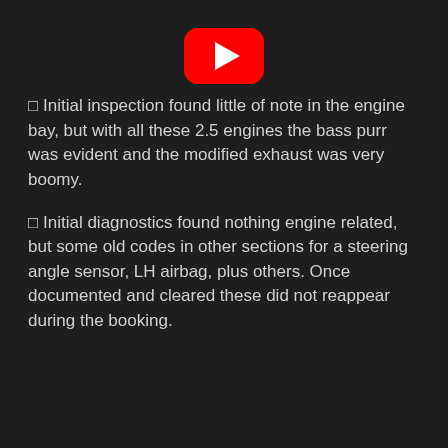[Figure (logo): YouTube logo — red rounded rectangle with white play triangle]
⬜ Initial inspection found little of note in the engine bay, but with all these 2.5 engines the bass purr was evident and the modified exhaust was very boomy.
⬜ Initial diagnostics found nothing engine related, but some old codes in other sections for a steering angle sensor, LH airbag, plus others. Once documented and cleared these did not reappear during the booking.